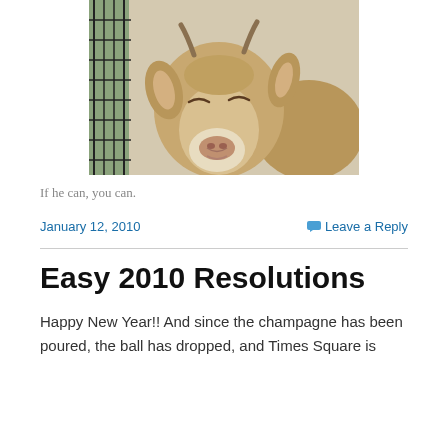[Figure (photo): Close-up photo of a smiling goat with tan/brown fur and small horns, facing the camera with eyes squinting, against a background with green cage wiring visible on the left and another goat behind.]
If he can, you can.
January 12, 2010
Leave a Reply
Easy 2010 Resolutions
Happy New Year!! And since the champagne has been poured, the ball has dropped, and Times Square is